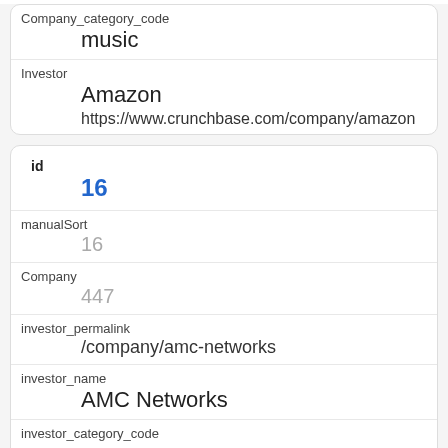| Company_category_code | music |
| Investor | Amazon |
|  | https://www.crunchbase.com/company/amazon |
| id | 16 |
| manualSort | 16 |
| Company | 447 |
| investor_permalink | /company/amc-networks |
| investor_name | AMC Networks |
| investor_category_code |  |
| investor_country_code |  |